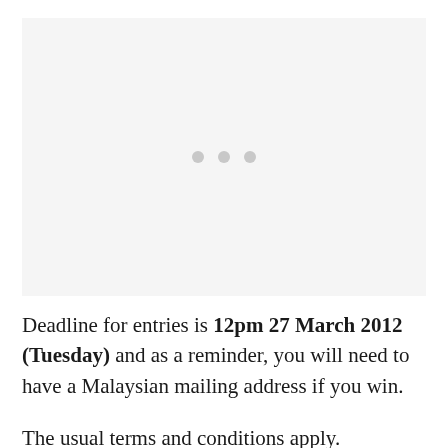[Figure (other): Placeholder image area with three grey dots in the center, indicating a loading or missing image]
Deadline for entries is 12pm 27 March 2012 (Tuesday) and as a reminder, you will need to have a Malaysian mailing address if you win.
The usual terms and conditions apply.